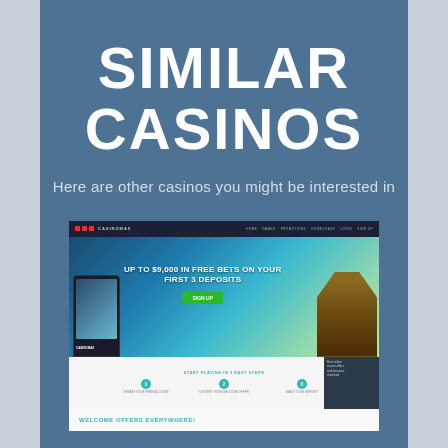SIMILAR CASINOS
Here are other casinos you might be interested in
[Figure (screenshot): Screenshot of CasinoMax website showing hero banner with 'UP TO $9,000 IN FREE BETS ON YOUR FIRST 3 DEPOSITS', a sign up button, steps section, welcome offers section, phone mockup, and a character illustration]